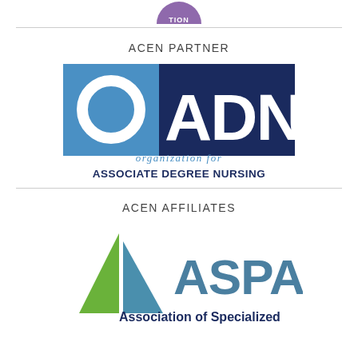[Figure (logo): Partial circular purple logo at top of page (cropped)]
ACEN PARTNER
[Figure (logo): OADN logo - Organization for Associate Degree Nursing. Blue and dark navy square logo with large white letters O, A, D, N. Below: italic 'organization for' in steel blue, bold 'ASSOCIATE DEGREE NURSING' in dark navy.]
ACEN AFFILIATES
[Figure (logo): ASPA logo - Association of Specialized. Two triangular shapes (green and teal/blue). Large bold 'ASPA' text in steel blue, followed by 'Association of Specialized' text below.]